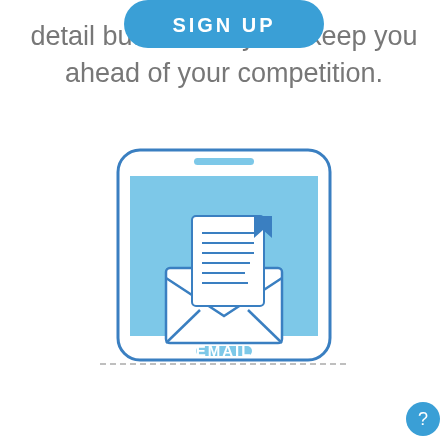[Figure (illustration): Blue rounded rectangle SIGN UP button at the top of the page]
detail but also they will keep you ahead of your competition.
[Figure (illustration): Smartphone illustration with a blue screen showing an open envelope with a document/letter inside and the word EMAIL below, with a dashed line at the base]
[Figure (illustration): Small circular blue help/question mark button in the bottom right corner]